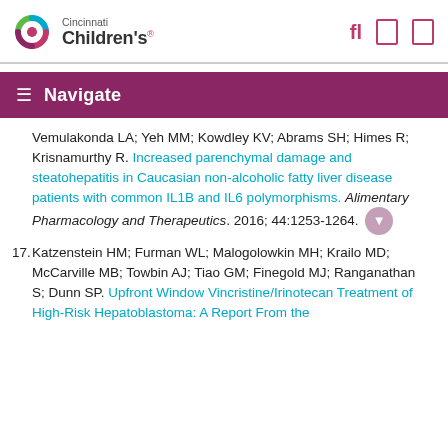Cincinnati Children's
Vemulakonda LA; Yeh MM; Kowdley KV; Abrams SH; Himes R; Krisnamurthy R. Increased parenchymal damage and steatohepatitis in Caucasian non-alcoholic fatty liver disease patients with common IL1B and IL6 polymorphisms. Alimentary Pharmacology and Therapeutics. 2016; 44:1253-1264.
17. Katzenstein HM; Furman WL; Malogolowkin MH; Krailo MD; McCarville MB; Towbin AJ; Tiao GM; Finegold MJ; Ranganathan S; Dunn SP. Upfront Window Vincristine/Irinotecan Treatment of High-Risk Hepatoblastoma: A Report From the